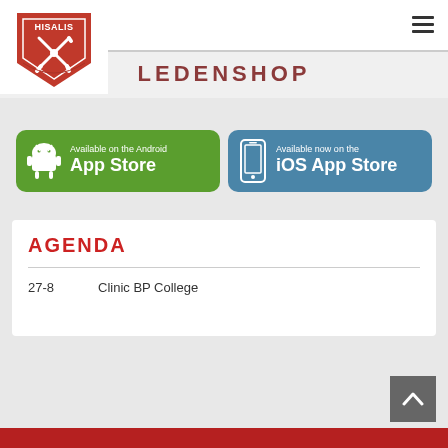[Figure (logo): Hisalis hockey club logo — red shield with crossed hockey sticks and text HISALIS]
LEDENSHOP
[Figure (screenshot): Available on the Android App Store — green button with Android robot icon]
[Figure (screenshot): Available now on the iOS App Store — blue button with smartphone icon]
AGENDA
| Date | Event |
| --- | --- |
| 27-8 | Clinic BP College |